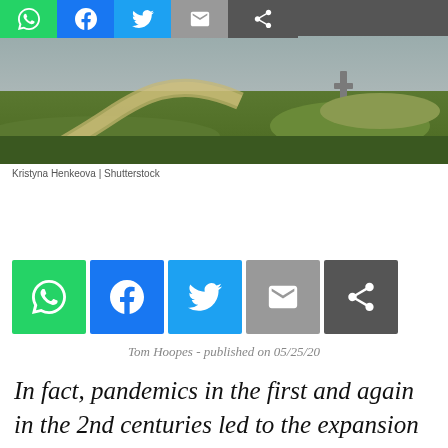[Figure (photo): Countryside path winding through green grass fields with a stone cross/marker visible in the background under overcast sky]
Kristyna Henkeova | Shutterstock
[Figure (infographic): Social media share buttons row: WhatsApp (green), Facebook (blue), Twitter (light blue), Email (grey), Share (dark grey)]
Tom Hoopes - published on 05/25/20
In fact, pandemics in the first and again in the 2nd centuries led to the expansion of the Church.